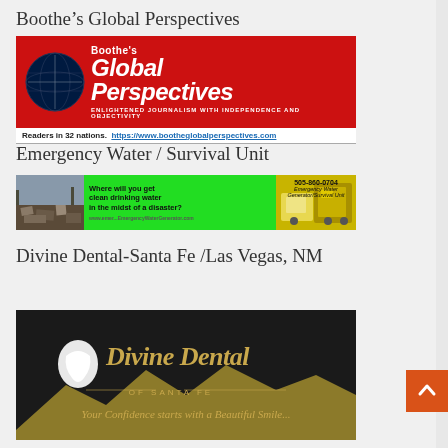Boothe’s Global Perspectives
[Figure (logo): Boothe's Global Perspectives red banner logo with globe icon and tagline 'Enlightened Journalism With Independence And Objectivity', with text below: 'Readers in 32 nations. https://www.bootheglobalperspectives.com']
Emergency Water / Survival Unit
[Figure (illustration): Green advertisement banner for Emergency Water Generator/Survival Unit with photo of disaster rubble on left, green background in middle with text 'Where will you get clean drinking water in the midst of a disaster? 505-860-0704 Emergency Water Generator/Survival Unit', and yellow equipment photo on right]
Divine Dental-Santa Fe /Las Vegas, NM
[Figure (logo): Divine Dental of Santa Fe logo on dark background with gold text and mountain silhouette, tagline 'Your Confidence starts with a Beautiful Smile...']